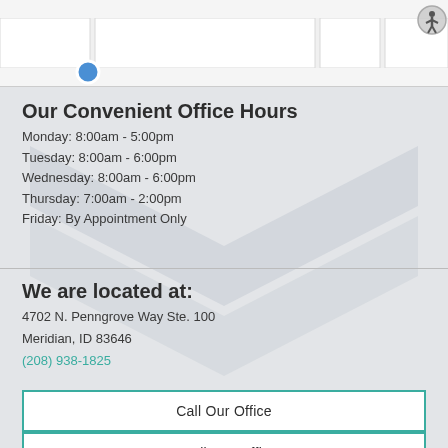[Figure (map): Map screenshot showing street layout with a blue location pin marker]
Our Convenient Office Hours
Monday: 8:00am - 5:00pm
Tuesday: 8:00am - 6:00pm
Wednesday: 8:00am - 6:00pm
Thursday: 7:00am - 2:00pm
Friday: By Appointment Only
We are located at:
4702 N. Penngrove Way Ste. 100
Meridian, ID 83646
(208) 938-1825
Call Our Office
Email Our Office